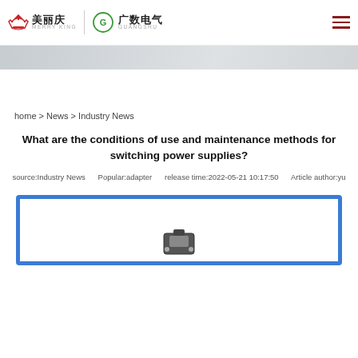美丽庆 MERRY KING | 广数电气 GUANGSHU
[Figure (photo): Website banner image showing a blurred office/lab background]
home > News > Industry News
What are the conditions of use and maintenance methods for switching power supplies?
source:Industry News    Popular:adapter    release time:2022-05-21 10:17:50    Article author:yu
[Figure (photo): Switching power supply product image in a blue-bordered frame]